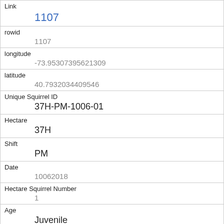| Link | 1107 |
| rowid | 1107 |
| longitude | -73.95307395621309 |
| latitude | 40.7932034409546 |
| Unique Squirrel ID | 37H-PM-1006-01 |
| Hectare | 37H |
| Shift | PM |
| Date | 10062018 |
| Hectare Squirrel Number | 1 |
| Age | Juvenile |